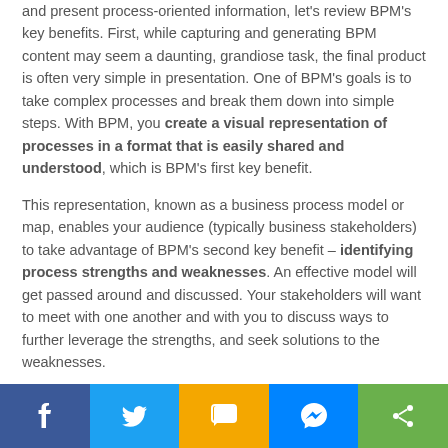and present process-oriented information, let's review BPM's key benefits. First, while capturing and generating BPM content may seem a daunting, grandiose task, the final product is often very simple in presentation. One of BPM's goals is to take complex processes and break them down into simple steps. With BPM, you create a visual representation of processes in a format that is easily shared and understood, which is BPM's first key benefit.
This representation, known as a business process model or map, enables your audience (typically business stakeholders) to take advantage of BPM's second key benefit – identifying process strengths and weaknesses. An effective model will get passed around and discussed. Your stakeholders will want to meet with one another and with you to discuss ways to further leverage the strengths, and seek solutions to the weaknesses.
Your model becomes the driver of BPM's third key benefit – enabling change. Your model provides the